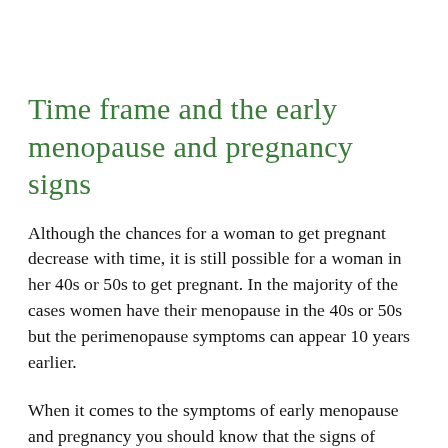Time frame and the early menopause and pregnancy signs
Although the chances for a woman to get pregnant decrease with time, it is still possible for a woman in her 40s or 50s to get pregnant. In the majority of the cases women have their menopause in the 40s or 50s but the perimenopause symptoms can appear 10 years earlier.
When it comes to the symptoms of early menopause and pregnancy you should know that the signs of menopause can be experienced during